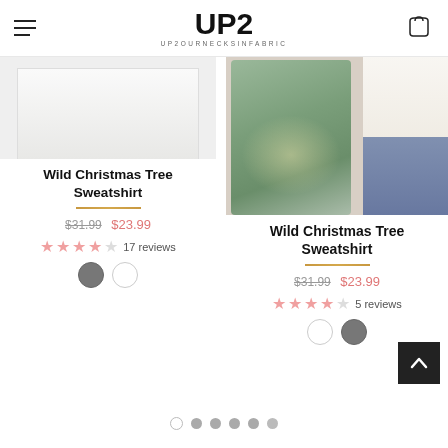UP2 UP2OURNECKSINFABRIC
[Figure (photo): Product photo of Wild Christmas Tree Sweatshirt - left column, cropped top view]
Wild Christmas Tree Sweatshirt
$31.99  $23.99
17 reviews
[Figure (photo): Product photo of Wild Christmas Tree Sweatshirt - right column, model wearing white sweatshirt near christmas tree]
Wild Christmas Tree Sweatshirt
$31.99  $23.99
5 reviews